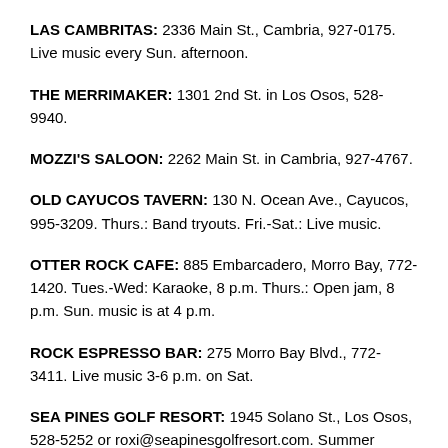LAS CAMBRITAS: 2336 Main St., Cambria, 927-0175. Live music every Sun. afternoon.
THE MERRIMAKER: 1301 2nd St. in Los Osos, 528-9940.
MOZZI'S SALOON: 2262 Main St. in Cambria, 927-4767.
OLD CAYUCOS TAVERN: 130 N. Ocean Ave., Cayucos, 995-3209. Thurs.: Band tryouts. Fri.-Sat.: Live music.
OTTER ROCK CAFE: 885 Embarcadero, Morro Bay, 772-1420. Tues.-Wed: Karaoke, 8 p.m. Thurs.: Open jam, 8 p.m. Sun. music is at 4 p.m.
ROCK ESPRESSO BAR: 275 Morro Bay Blvd., 772-3411. Live music 3-6 p.m. on Sat.
SEA PINES GOLF RESORT: 1945 Solano St., Los Osos, 528-5252 or roxi@seapinesgolfresort.com. Summer concerts take place on Sat. from 2-6 p.m.
SKIPPERS RESTAURANT: 113 N Ocean, Cayucos, 995-1190.